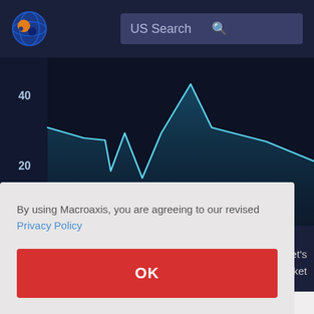[Figure (logo): Macroaxis logo: circular globe icon with orange and blue design]
US Search
[Figure (area-chart): Area chart on dark navy background showing values around 20-45 range. Line starts around 32, dips in a W-shape to around 18-20, then spikes sharply to about 45, drops steeply back to about 32, then gradually declines to about 22 on the right side. Y-axis labels show 40 and 20.]
By using Macroaxis, you are agreeing to our revised Privacy Policy
OK
arket's
market
sentiment. Unlike more traditional methods such as